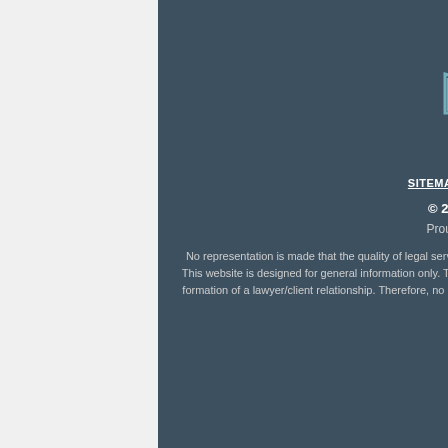P: (251) 338-2721
F: (251) 338-2722
[Figure (logo): Ball Ball Attorneys at Law logo with stylized BB monogram icon]
[Figure (infographic): Social media icons: LinkedIn, Twitter, Facebook]
SITEMAP | DISCLAIMERS | PRIVACY POLICY
© 2020, Ball, Ball, Matthews & Novak.
Proudly created by Cartography Consulting.
No representation is made that the quality of legal services to be performed is greater than the quality of legal services performed by other lawyers. This website is designed for general information only. The information presented at this site should not be construed to be formal legal advice nor the formation of a lawyer/client relationship. Therefore, no information of any kind that you provide us before such a relationship is created is confidential or privileged.